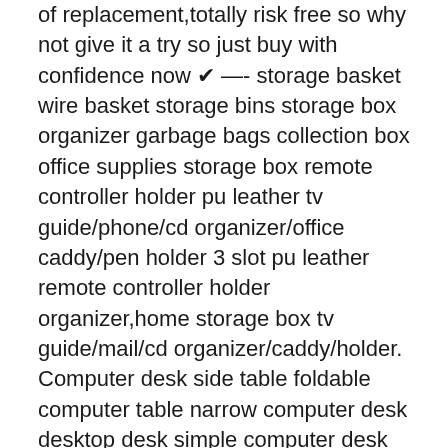of replacement,totally risk free so why not give it a try so just buy with confidence now ✔ —- storage basket wire basket storage bins storage box organizer garbage bags collection box office supplies storage box remote controller holder pu leather tv guide/phone/cd organizer/office caddy/pen holder 3 slot pu leather remote controller holder organizer,home storage box tv guide/mail/cd organizer/caddy/holder. Computer desk side table foldable computer table narrow computer desk desktop desk simple computer desk best computer desk small corner computer desk computer table online buy computer desk black desk computer desk for small spaces small desk with drawers glass computer table adjustable computer table small white computer desk slim computer desk small pc desk cheap computer table office computer table portable computer desk black office desk pc table small table desk